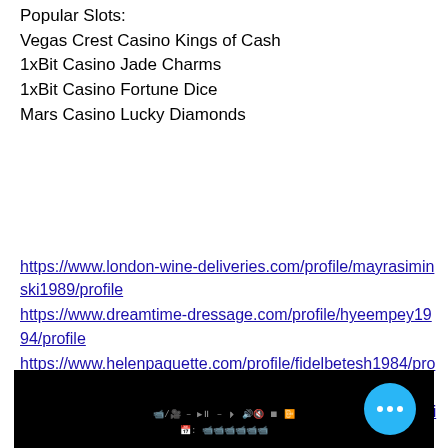Popular Slots:
Vegas Crest Casino Kings of Cash
1xBit Casino Jade Charms
1xBit Casino Fortune Dice
Mars Casino Lucky Diamonds
https://www.london-wine-deliveries.com/profile/mayrasiminski1989/profile
https://www.dreamtime-dressage.com/profile/hyeempey1994/profile
https://www.helenpaquette.com/profile/fidelbetesh1984/profile
https://www.ghcstudio.com/profile/ivorypentecost1978/profile
[Figure (screenshot): Black video player thumbnail with text in non-Latin script and a light blue circular button with three white dots on the right side]